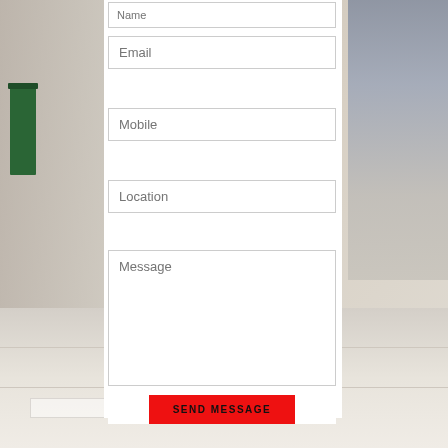[Figure (photo): Background photo of a person laying floor tiles, with a light-colored floor and green container visible on the left side]
Name
Email
Mobile
Location
Message
SEND MESSAGE